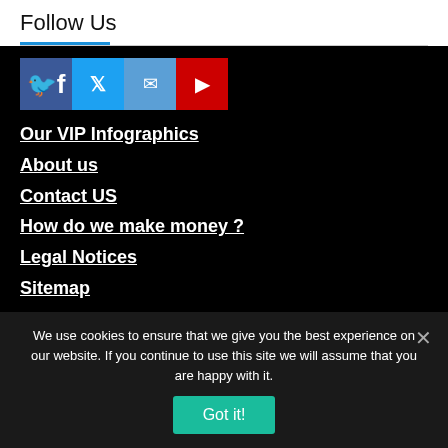Follow Us
[Figure (illustration): Four social media icon buttons: Facebook (blue), Twitter (light blue), Instagram (blue), YouTube (red)]
Our VIP Infographics
About us
Contact US
How do we make money ?
Legal Notices
Sitemap
Other related pages
We use cookies to ensure that we give you the best experience on our website. If you continue to use this site we will assume that you are happy with it.
Got it!